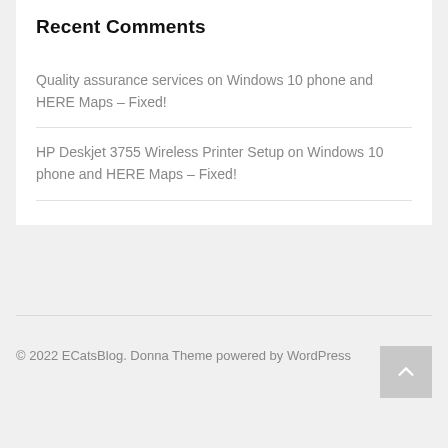Recent Comments
Quality assurance services on Windows 10 phone and HERE Maps – Fixed!
HP Deskjet 3755 Wireless Printer Setup on Windows 10 phone and HERE Maps – Fixed!
© 2022 ECatsBlog. Donna Theme powered by WordPress